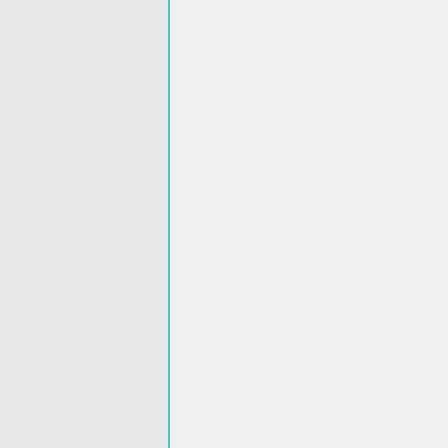[Figure (screenshot): Screenshot of a software toolbar with buttons: New, Open, Save, Save as, Export, Import, Manager, Compile, Upload. The interface has a teal/cyan border and light blue-grey body area with a horizontal scrollbar.]
Project 3: Line Tracking
Overview
If you want to build a line tracking robot, the easiest way is to use a line tracking sensor. Line following is the most basic function of smart mobile robot. We designed this new generation of line tracking sensor to be your robot's powerful copilot all the way. It will guide your robot by telling white from black quickly and accurately, via TTL signal.
Component Required:
EASY plug control board*1
EASY plug Line Tracking Sensor *1
EASY plug LED Module *1